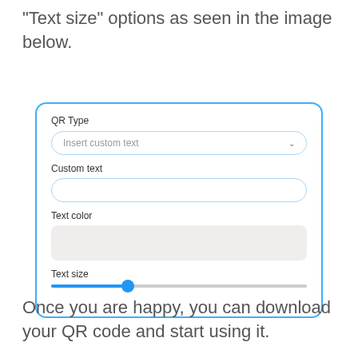“Text size” options as seen in the image below.
[Figure (screenshot): UI form card with blue border showing fields: QR Type (dropdown with 'Insert custom text'), Custom text (empty input), Text color (light gray box), and Text size (slider at ~30%)]
Once you are happy, you can download your QR code and start using it.